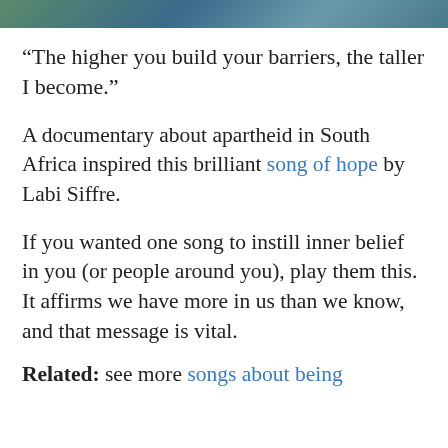[Figure (photo): Partial image at top of page, appears to be an outdoor/nature scene with blue-green tones]
“The higher you build your barriers, the taller I become.”
A documentary about apartheid in South Africa inspired this brilliant song of hope by Labi Siffre.
If you wanted one song to instill inner belief in you (or people around you), play them this. It affirms we have more in us than we know, and that message is vital.
Related: see more songs about being